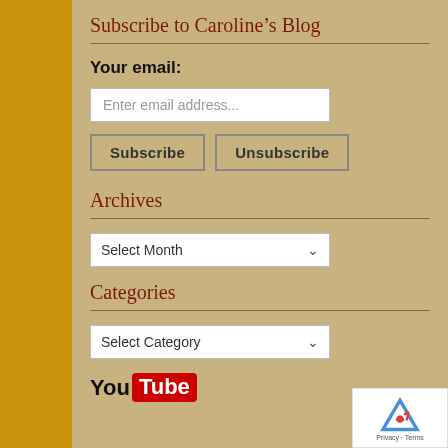Subscribe to Caroline’s Blog
Your email:
Archives
Categories
[Figure (logo): YouTube logo showing 'You' in black bold text and 'Tube' in white text on red background]